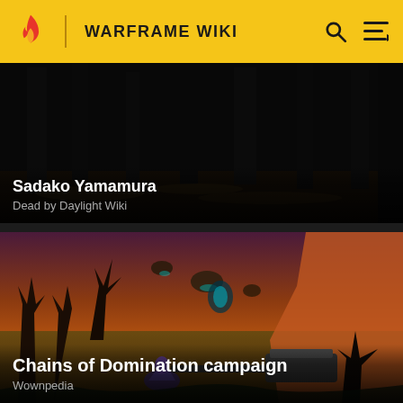WARFRAME WIKI
[Figure (screenshot): Dark forest scene with trees and fallen leaves — thumbnail for Sadako Yamamura article on Dead by Daylight Wiki]
Sadako Yamamura
Dead by Daylight Wiki
[Figure (screenshot): Fantasy game scene with mounted character holding a large weapon, dark trees and orange sky — thumbnail for Chains of Domination campaign on Wownpedia]
Chains of Domination campaign
Wownpedia